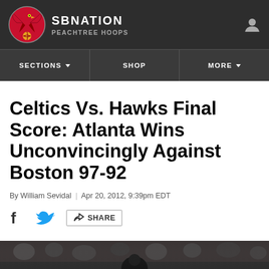SB NATION | PEACHTREE HOOPS
Celtics Vs. Hawks Final Score: Atlanta Wins Unconvincingly Against Boston 97-92
By William Sevidal | Apr 20, 2012, 9:39pm EDT
[Figure (photo): Photo of basketball game crowd in arena, bottom of page]
[Figure (logo): Atlanta Hawks / SB Nation Peachtree Hoops logo in header]